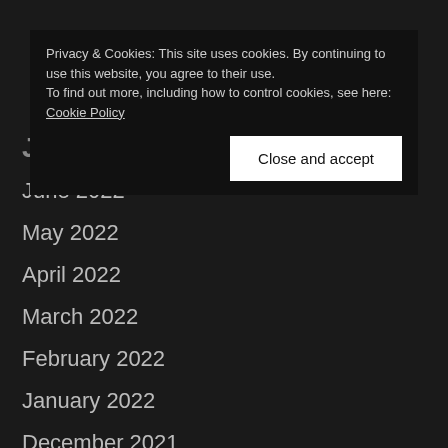Privacy & Cookies: This site uses cookies. By continuing to use this website, you agree to their use.
To find out more, including how to control cookies, see here: Cookie Policy
Close and accept
J
June 2022
May 2022
April 2022
March 2022
February 2022
January 2022
December 2021
November 2021
October 2021
September 2021
August 2021
July 2021